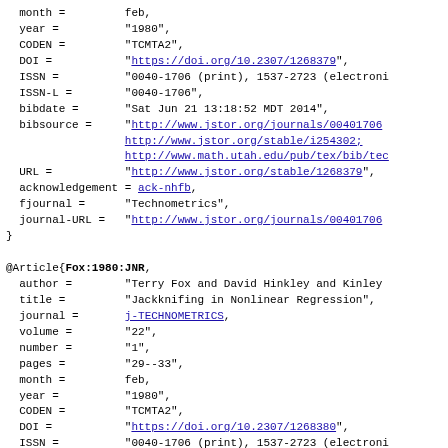BibTeX bibliography entry continuation and @Article{Fox:1980:JNR} entry